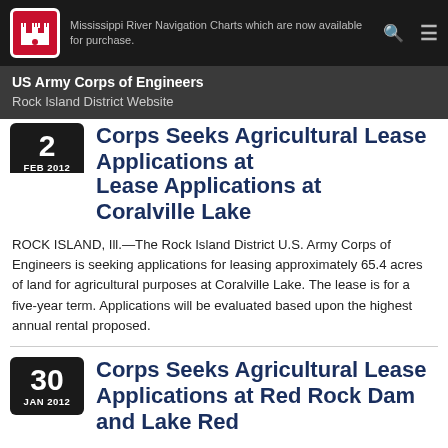Mississippi River Navigation Charts which are now available for purchase.
US Army Corps of Engineers
Rock Island District Website
Corps Seeks Agricultural Lease Applications at Coralville Lake
ROCK ISLAND, Ill.—The Rock Island District U.S. Army Corps of Engineers is seeking applications for leasing approximately 65.4 acres of land for agricultural purposes at Coralville Lake. The lease is for a five-year term. Applications will be evaluated based upon the highest annual rental proposed.
Corps Seeks Agricultural Lease Applications at Red Rock Dam and Lake Red